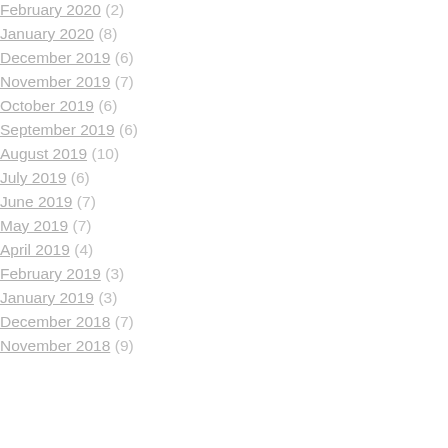February 2020 (2)
January 2020 (8)
December 2019 (6)
November 2019 (7)
October 2019 (6)
September 2019 (6)
August 2019 (10)
July 2019 (6)
June 2019 (7)
May 2019 (7)
April 2019 (4)
February 2019 (3)
January 2019 (3)
December 2018 (7)
November 2018 (9)